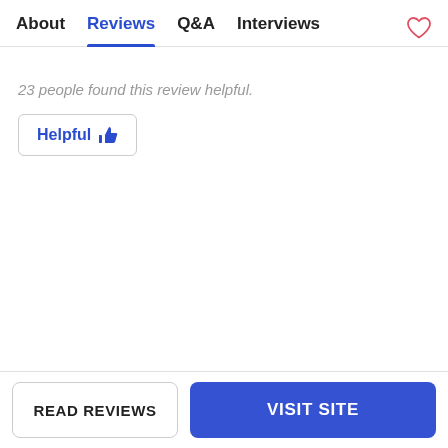About  Reviews  Q&A  Interviews
23 people found this review helpful.
Helpful 👍
READ REVIEWS
VISIT SITE